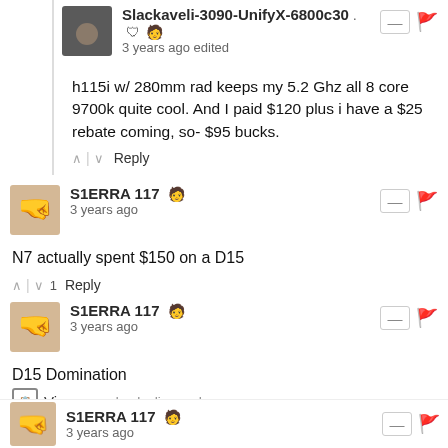Slackaveli-3090-UnifyX-6800c30 . 🛡️ 🧑 — 🚩
3 years ago edited
h115i w/ 280mm rad keeps my 5.2 Ghz all 8 core 9700k quite cool. And I paid $120 plus i have a $25 rebate coming, so- $95 bucks.
^ | v Reply
S1ERRA 117 🧑 — 🚩
3 years ago
N7 actually spent $150 on a D15
^ | v 1 Reply
S1ERRA 117 🧑 — 🚩
3 years ago
D15 Domination
View — uploads.disquscdn.com
v 1 Reply
S1ERRA 117 🧑 — 🚩
3 years ago
I feel bad for N7